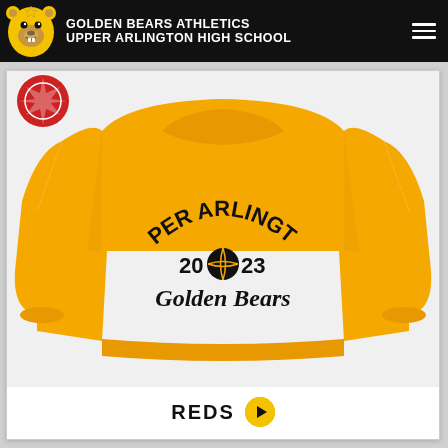GOLDEN BEARS ATHLETICS UPPER ARLINGTON HIGH SCHOOL
[Figure (photo): Golden yellow crewneck sweatshirt with 'UPPER ARLINGTON 2023 Golden Bears' basketball graphic printed on the chest, displayed on a white background inside a product card. A red badge/seal is visible in the upper left corner of the card.]
REDS